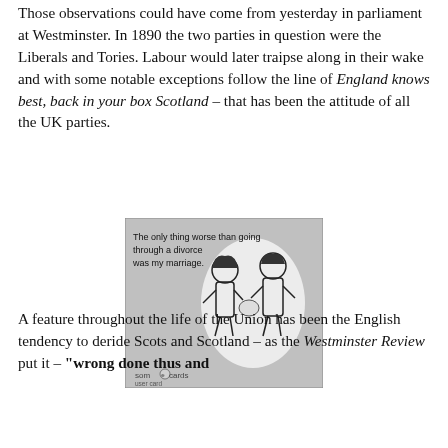Those observations could have come from yesterday in parliament at Westminster. In 1890 the two parties in question were the Liberals and Tories. Labour would later traipse along in their wake and with some notable exceptions follow the line of England knows best, back in your box Scotland – that has been the attitude of all the UK parties.
[Figure (illustration): A someecard illustration showing two retro-style figures with text: 'The only thing worse than going through a divorce was my marriage.' and the somecards brand logo at the bottom.]
A feature throughout the life of the Union has been the English tendency to deride Scots and Scotland – as the Westminster Review put it – "wrong done thus and